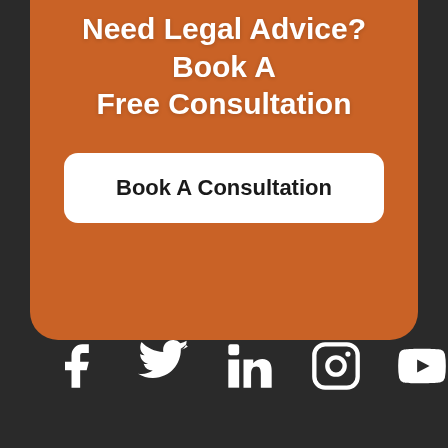Need Legal Advice? Book A Free Consultation
Book A Consultation
[Figure (infographic): Social media icons row: Facebook, Twitter, LinkedIn, Instagram, YouTube — white icons on dark background]